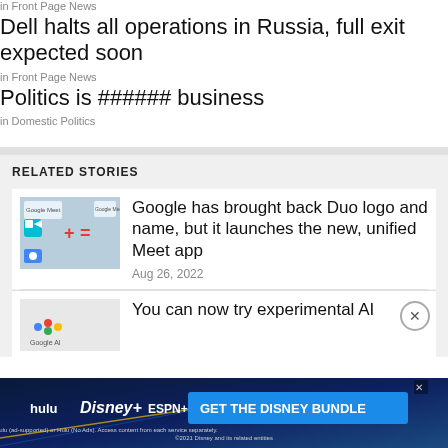in Front Page News
Dell halts all operations in Russia, full exit expected soon
in Front Page News
Politics is ###### business
in Domestic Politics
RELATED STORIES
[Figure (screenshot): Google Meet and Duo logos with plus and equals sign, showing merger graphic]
Google has brought back Duo logo and name, but it launches the new, unified Meet app
Aug 26, 2022
You can now try experimental AI
[Figure (screenshot): Google logo partial screenshot]
[Figure (screenshot): Hulu Disney+ ESPN+ GET THE DISNEY BUNDLE advertisement banner]